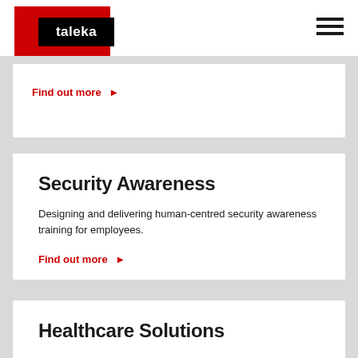[Figure (logo): Taleka logo: red square background with black rectangle containing white 'taleka' text]
Find out more ›
Security Awareness
Designing and delivering human-centred security awareness training for employees.
Find out more ›
Healthcare Solutions
Working with health teams to bring patients and their loved ones together from afar using our innovative HowRU solution.